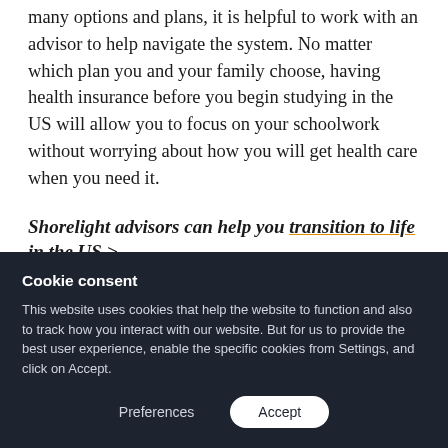many options and plans, it is helpful to work with an advisor to help navigate the system. No matter which plan you and your family choose, having health insurance before you begin studying in the US will allow you to focus on your schoolwork without worrying about how you will get health care when you need it.
Shorelight advisors can help you transition to life in the US >
Cookie consent
This website uses cookies that help the website to function and also to track how you interact with our website. But for us to provide the best user experience, enable the specific cookies from Settings, and click on Accept.